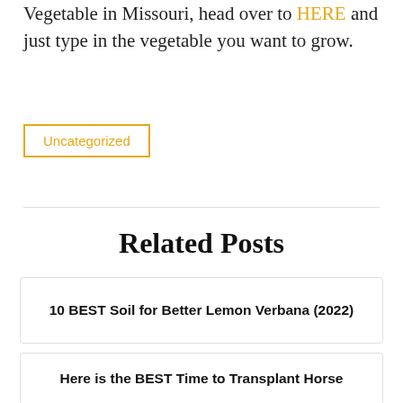Vegetable in Missouri, head over to HERE and just type in the vegetable you want to grow.
Uncategorized
Related Posts
10 BEST Soil for Better Lemon Verbana (2022)
Here is the BEST Time to Transplant Horse